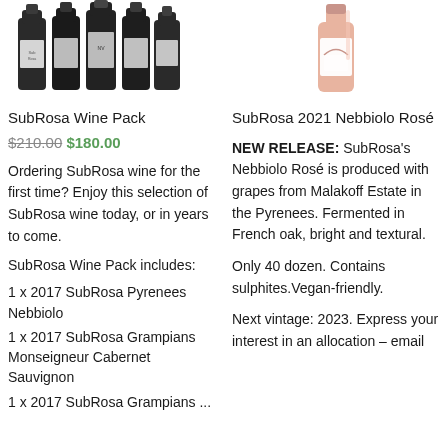[Figure (photo): Several dark wine bottles grouped together (SubRosa Wine Pack)]
[Figure (photo): Single rosé wine bottle (SubRosa 2021 Nebbiolo Rosé)]
SubRosa Wine Pack
SubRosa 2021 Nebbiolo Rosé
$210.00 $180.00
Ordering SubRosa wine for the first time? Enjoy this selection of SubRosa wine today, or in years to come.
NEW RELEASE: SubRosa's Nebbiolo Rosé is produced with grapes from Malakoff Estate in the Pyrenees. Fermented in French oak, bright and textural.
SubRosa Wine Pack includes:
Only 40 dozen. Contains sulphites.Vegan-friendly.
1 x 2017 SubRosa Pyrenees Nebbiolo
Next vintage: 2023. Express your interest in an allocation – email
1 x 2017 SubRosa Grampians Monseigneur Cabernet Sauvignon
1 x 2017 SubRosa Grampians ...